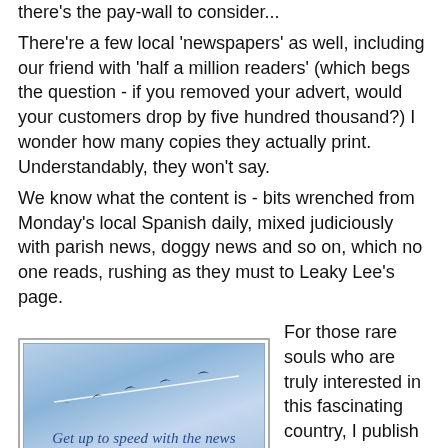there's the pay-wall to consider... There're a few local 'newspapers' as well, including our friend with 'half a million readers' (which begs the question - if you removed your advert, would your customers drop by five hundred thousand?) I wonder how many copies they actually print. Understandably, they won't say. We know what the content is - bits wrenched from Monday's local Spanish daily, mixed judiciously with parish news, doggy news and so on, which no one reads, rushing as they must to Leaky Lee's page.
[Figure (illustration): Advertisement for Business over Tapas showing birds flying against a blue sky with tagline 'Get up to speed with the news' and website www.businessovertapas.com]
For those rare souls who are truly interested in this fascinating country, I publish Business over Tapas with what's going on in Spain. It is aimed at the European reader. What's coming, what your taxes are, when and who and where. The price of houses, the politics, the new laws and rules, news for Seniors, how...